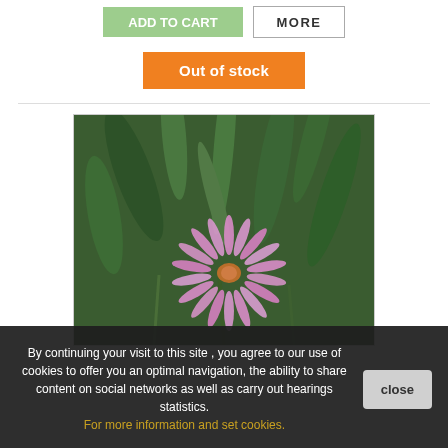[Figure (other): Partially visible buttons: a green 'Add to Cart' style button and a bordered 'MORE' button at the top of the page]
Out of stock
[Figure (photo): A pink daisy-like flower with multiple thin petals against a blurred background of green leaves and stems]
By continuing your visit to this site , you agree to our use of cookies to offer you an optimal navigation, the ability to share content on social networks as well as carry out hearings statistics. For more information and set cookies.